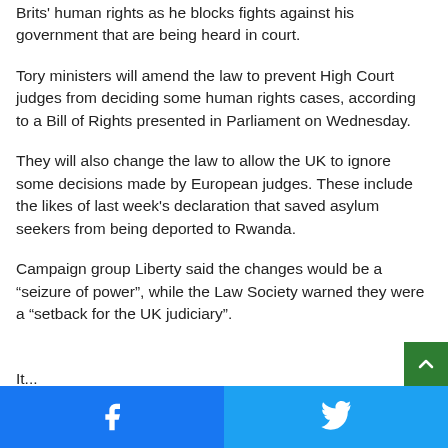Brits' human rights as he blocks fights against his government that are being heard in court.
Tory ministers will amend the law to prevent High Court judges from deciding some human rights cases, according to a Bill of Rights presented in Parliament on Wednesday.
They will also change the law to allow the UK to ignore some decisions made by European judges. These include the likes of last week's declaration that saved asylum seekers from being deported to Rwanda.
Campaign group Liberty said the changes would be a “seizure of power”, while the Law Society warned they were a “setback for the UK judiciary”.
Facebook | Twitter